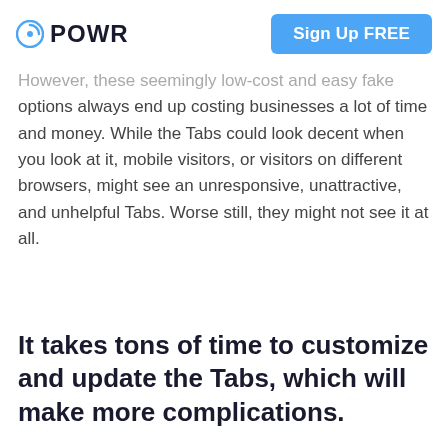POWR  Sign Up FREE
However, these seemingly low-cost and easy fake options always end up costing businesses a lot of time and money. While the Tabs could look decent when you look at it, mobile visitors, or visitors on different browsers, might see an unresponsive, unattractive, and unhelpful Tabs. Worse still, they might not see it at all.
It takes tons of time to customize and update the Tabs, which will make more complications.